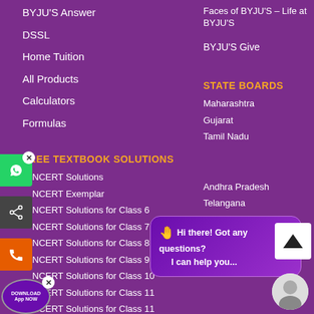BYJU'S Answer
DSSL
Home Tuition
All Products
Calculators
Formulas
FREE TEXTBOOK SOLUTIONS
STATE BOARDS
NCERT Solutions
Maharashtra
NCERT Exemplar
Gujarat
NCERT Solutions for Class 6
Tamil Nadu
NCERT Solutions for Class 7
NCERT Solutions for Class 8
Andhra Pradesh
NCERT Solutions for Class 9
Telangana
NCERT Solutions for Class 10
Uttar Pradesh
NCERT Solutions for Class 11
Bihar
NCERT Solutions for Class 11 English